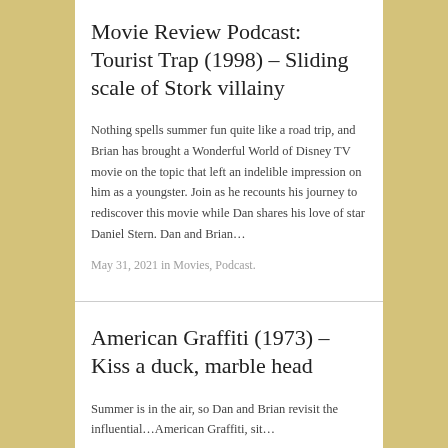Movie Review Podcast: Tourist Trap (1998) – Sliding scale of Stork villainy
Nothing spells summer fun quite like a road trip, and Brian has brought a Wonderful World of Disney TV movie on the topic that left an indelible impression on him as a youngster. Join as he recounts his journey to rediscover this movie while Dan shares his love of star Daniel Stern. Dan and Brian…
May 31, 2021 in Movies, Podcast.
American Graffiti (1973) – Kiss a duck, marble head
Summer is in the air, so Dan and Brian revisit the influential…American Graffiti, sit…